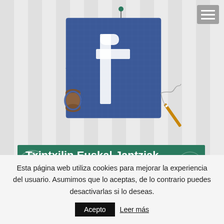[Figure (illustration): Facebook logo recreated in a fabric/sewing craft style: a blue denim-textured square with white lowercase 'f', a spool of blue thread on the left, a needle with thread on the right, and a sewing pin at the top center. Background has vertical stripe pattern.]
Txintxilin Euskal Jantziak
Zorrilla Kalea 2
Esta página web utiliza cookies para mejorar la experiencia del usuario. Asumimos que lo aceptas, de lo contrario puedes desactivarlas si lo deseas. Acepto Leer más